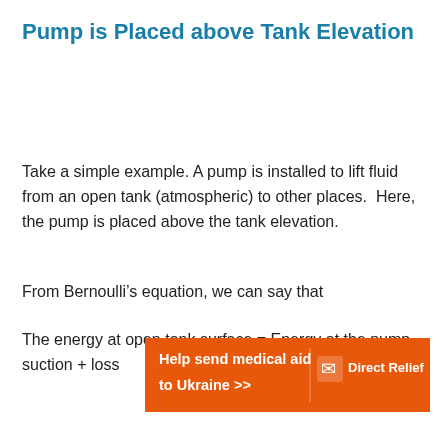Pump is Placed above Tank Elevation
Take a simple example. A pump is installed to lift fluid from an open tank (atmospheric) to other places. Here, the pump is placed above the tank elevation.
From Bernoulli’s equation, we can say that
The energy at open tank surface = Energy at the pump suction + loss
[Figure (other): Orange advertisement banner for Direct Relief: 'Help send medical aid to Ukraine >>' with Direct Relief logo]